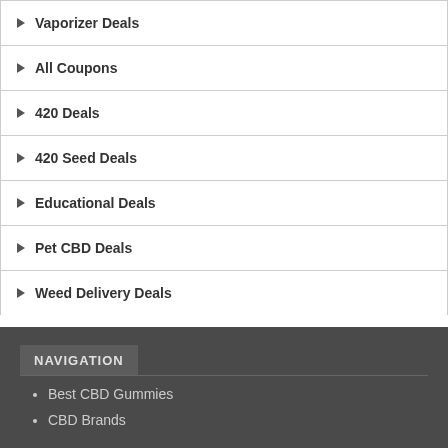Vaporizer Deals
All Coupons
420 Deals
420 Seed Deals
Educational Deals
Pet CBD Deals
Weed Delivery Deals
NAVIGATION
Best CBD Gummies
CBD Brands